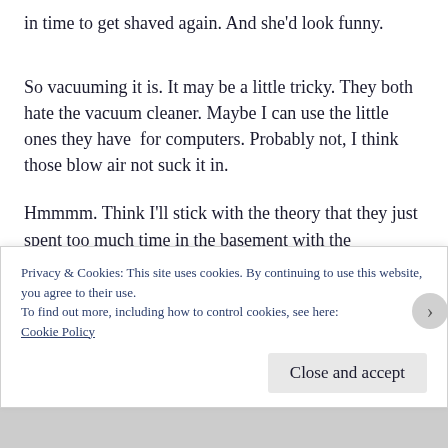in time to get shaved again. And she'd look funny.
So vacuuming it is. It may be a little tricky. They both hate the vacuum cleaner. Maybe I can use the little ones they have  for computers. Probably not, I think those blow air not suck it in.
Hmmmm. Think I'll stick with the theory that they just spent too much time in the basement with the
Privacy & Cookies: This site uses cookies. By continuing to use this website, you agree to their use.
To find out more, including how to control cookies, see here:
Cookie Policy
Close and accept